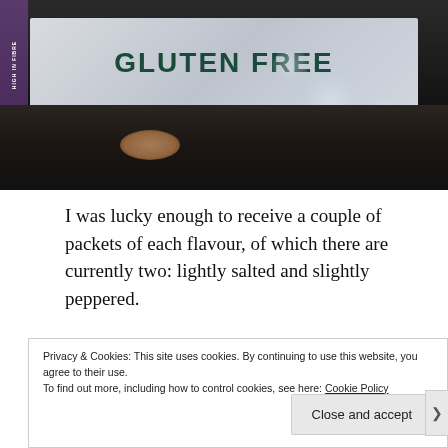[Figure (photo): Close-up photo of a food product box showing 'GLUTEN FREE' text in dark teal bold letters on a light grey/silver background, with a dark area below and a partially visible spoon with food item.]
I was lucky enough to receive a couple of packets of each flavour, of which there are currently two: lightly salted and slightly peppered.
Privacy & Cookies: This site uses cookies. By continuing to use this website, you agree to their use.
To find out more, including how to control cookies, see here: Cookie Policy
Close and accept